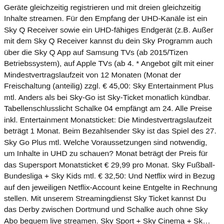Geräte gleichzeitig registrieren und mit dreien gleichzeitig Inhalte streamen. Für den Empfang der UHD-Kanäle ist ein Sky Q Receiver sowie ein UHD-fähiges Endgerät (z.B. Außer mit dem Sky Q Receiver kannst du dein Sky Programm auch über die Sky Q App auf Samsung TVs (ab 2015/Tizen Betriebssystem), auf Apple TVs (ab 4. * Angebot gilt mit einer Mindestvertragslaufzeit von 12 Monaten (Monat der Freischaltung (anteilig) zzgl. € 45,00: Sky Entertainment Plus mtl. Anders als bei Sky-Go ist Sky-Ticket monatlich kündbar. Tabellenschlusslicht Schalke 04 empfängt am 24. Alle Preise inkl. Entertainment Monatsticket: Die Mindestvertragslaufzeit beträgt 1 Monat. Beim Bezahlsender Sky ist das Spiel des 27. Sky Go Plus mtl. Welche Voraussetzungen sind notwendig, um Inhalte in UHD zu schauen? Monat beträgt der Preis für das Supersport Monatsticket € 29,99 pro Monat. Sky Fußball-Bundesliga + Sky Kids mtl. € 32,50: Und Netflix wird in Bezug auf den jeweiligen Netflix-Account keine Entgelte in Rechnung stellen. Mit unserem Streamingdienst Sky Ticket kannst Du das Derby zwischen Dortmund und Schalke auch ohne Sky Abo bequem live streamen. Sky Sport + Sky Cinema + Sk...